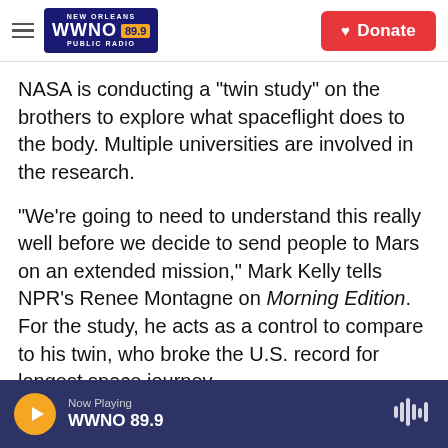[Figure (logo): WWNO 89.9 New Orleans Public Radio logo with hamburger menu and Donate button]
NASA is conducting a "twin study" on the brothers to explore what spaceflight does to the body. Multiple universities are involved in the research.
"We're going to need to understand this really well before we decide to send people to Mars on an extended mission," Mark Kelly tells NPR's Renee Montagne on Morning Edition. For the study, he acts as a control to compare to his twin, who broke the U.S. record for longest space journey.
Kelly says one part of the study will look into the impact of space on aging. "One of the universities is
Now Playing WWNO 89.9